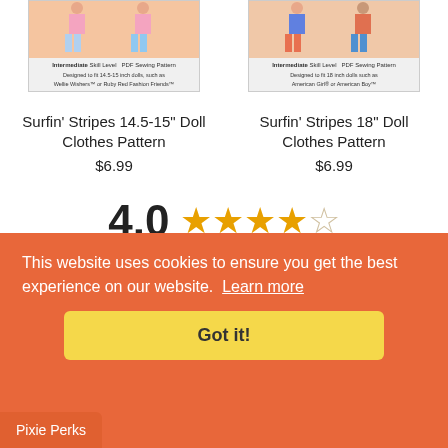[Figure (photo): Product image for Surfin' Stripes 14.5-15" Doll Clothes Pattern showing doll with intermediate skill level PDF sewing pattern tag]
Surfin' Stripes 14.5-15" Doll Clothes Pattern
$6.99
[Figure (photo): Product image for Surfin' Stripes 18" Doll Clothes Pattern showing doll with intermediate skill level PDF sewing pattern tag]
Surfin' Stripes 18" Doll Clothes Pattern
$6.99
4.0 ★★★★☆
Based on 1  Reviews
This website uses cookies to ensure you get the best experience on our website.  Learn more
Got it!